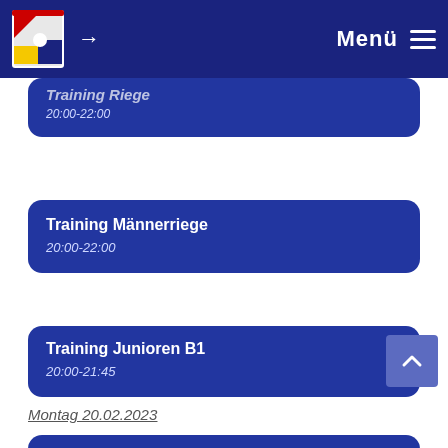Menü
Training Männerriege
20:00-22:00
Training Junioren B1
20:00-21:45
Montag 20.02.2023